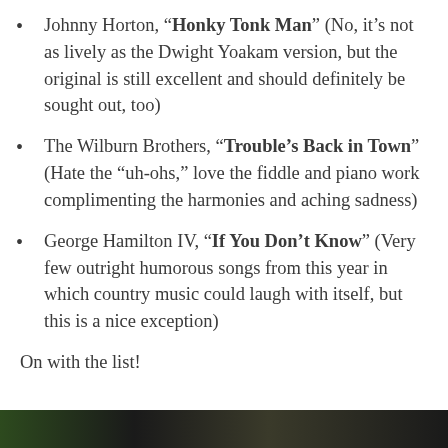Johnny Horton, “Honky Tonk Man” (No, it’s not as lively as the Dwight Yoakam version, but the original is still excellent and should definitely be sought out, too)
The Wilburn Brothers, “Trouble’s Back in Town” (Hate the “uh-ohs,” love the fiddle and piano work complimenting the harmonies and aching sadness)
George Hamilton IV, “If You Don’t Know” (Very few outright humorous songs from this year in which country music could laugh with itself, but this is a nice exception)
On with the list!
[Figure (photo): Bottom strip showing a dark image, partially visible, appears to be a music-related photograph with text overlay reading 'Davis']